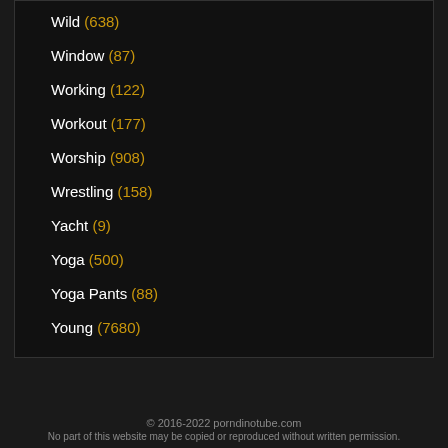Wild (638)
Window (87)
Working (122)
Workout (177)
Worship (908)
Wrestling (158)
Yacht (9)
Yoga (500)
Yoga Pants (88)
Young (7680)
© 2016-2022 porndinotube.com
No part of this website may be copied or reproduced without written permission.